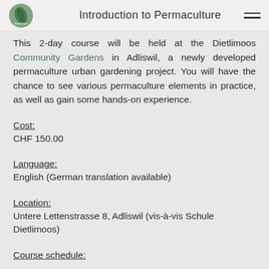Introduction to Permaculture
This 2-day course will be held at the Dietlimoos Community Gardens in Adliswil, a newly developed permaculture urban gardening project. You will have the chance to see various permaculture elements in practice, as well as gain some hands-on experience.
Cost:
CHF 150.00
Language:
English (German translation available)
Location:
Untere Lettenstrasse 8, Adliswil (vis-à-vis Schule Dietlimoos)
Course schedule: